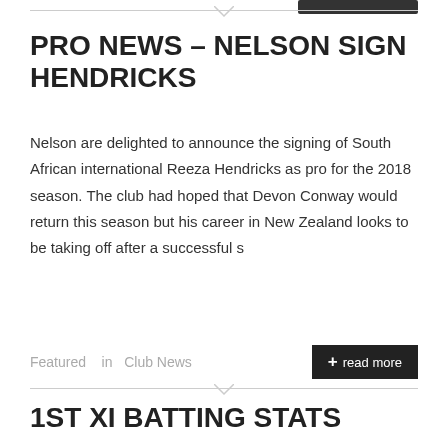PRO NEWS – NELSON SIGN HENDRICKS
Nelson are delighted to announce the signing of South African international Reeza Hendricks as pro for the 2018 season. The club had hoped that Devon Conway would return this season but his career in New Zealand looks to be taking off after a successful s
Featured   in  Club News
1ST XI BATTING STATS
1st XI Batting Stats 2017 – All Comps Player Inn NO Runs Ave HS 100's 50's Devon Conway 26 7 1401 73.74 231* 3 8 David Crotty 23 2 693 33 102 1 4 Russell Bradley 23 2 520 24.76 95 0 2 Lewis Bradley 30 3 510 18.89 82 0 2 Khurram